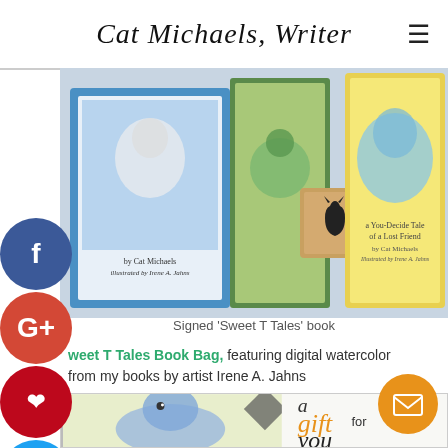Cat Michaels, Writer
[Figure (photo): Photo of Sweet T Tales children's books with illustrated covers showing animals, and a wooden cat rubber stamp]
Signed 'Sweet T Tales' book
Sweet T Tales Book Bag, featuring digital watercolor from my books by artist Irene A. Jahns
[Figure (photo): Bottom portion showing a watercolor illustration of a blue fluffy dog and a gift card saying 'a gift for you']